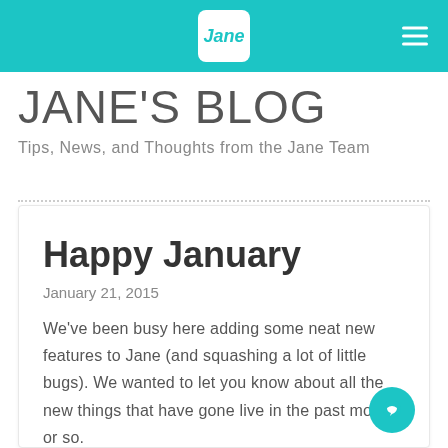Jane
JANE'S BLOG
Tips, News, and Thoughts from the Jane Team
Happy January
January 21, 2015
We've been busy here adding some neat new features to Jane (and squashing a lot of little bugs). We wanted to let you know about all the new things that have gone live in the past month or so.
All New Schedule